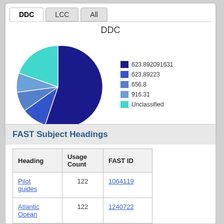[Figure (pie-chart): DDC]
FAST Subject Headings
| Heading | Usage Count | FAST ID |
| --- | --- | --- |
| Pilot guides | 122 | 1064119 |
| Atlantic Ocean | 122 | 1240722 |